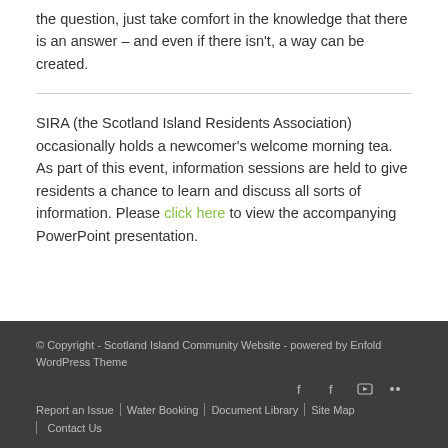the question, just take comfort in the knowledge that there is an answer – and even if there isn't, a way can be created.
SIRA (the Scotland Island Residents Association) occasionally holds a newcomer's welcome morning tea. As part of this event, information sessions are held to give residents a chance to learn and discuss all sorts of information. Please click here to view the accompanying PowerPoint presentation.
© Copyright - Scotland Island Community Website - powered by Enfold WordPress Theme | Report an Issue | Water Booking | Document Library | Site Map | Contact Us